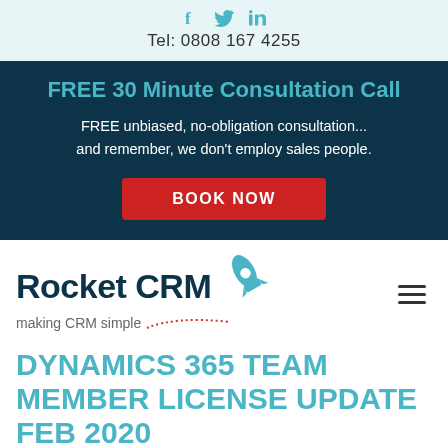Tel: 0808 167 4255
FREE 30 Minute Consultation Call
FREE unbiased, no-obligation consultation... and remember, we don't employ sales people.
BOOK NOW
[Figure (logo): Rocket CRM logo with rocket icon and tagline 'making CRM simple']
DYNAMICS 365 TEAM MEMBER LICENSE UPDATE FEB 2020